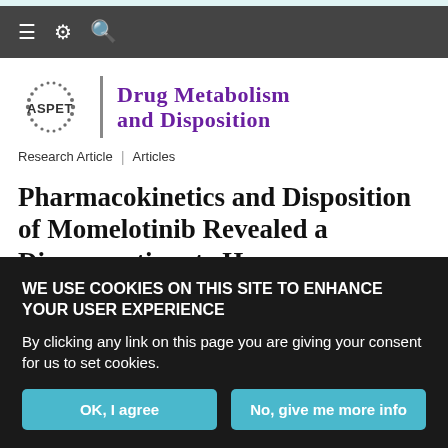≡ ⚙ 🔍
[Figure (logo): ASPET Drug Metabolism and Disposition journal logo with ASPET circular dot logo and journal title in purple]
Research Article | Articles
Pharmacokinetics and Disposition of Momelotinib Revealed a Disproportionate Human Metabolite
WE USE COOKIES ON THIS SITE TO ENHANCE YOUR USER EXPERIENCE
By clicking any link on this page you are giving your consent for us to set cookies.
OK, I agree | No, give me more info